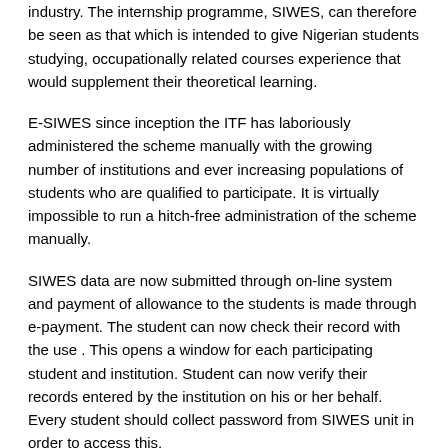industry. The internship programme, SIWES, can therefore be seen as that which is intended to give Nigerian students studying, occupationally related courses experience that would supplement their theoretical learning.
E-SIWES since inception the ITF has laboriously administered the scheme manually with the growing number of institutions and ever increasing populations of students who are qualified to participate. It is virtually impossible to run a hitch-free administration of the scheme manually.
SIWES data are now submitted through on-line system and payment of allowance to the students is made through e-payment. The student can now check their record with the use . This opens a window for each participating student and institution. Student can now verify their records entered by the institution on his or her behalf. Every student should collect password from SIWES unit in order to access this.
All relevant forms can easily be downloaded from the website. Student cannot edit the information without routing such edit requests through their institution.